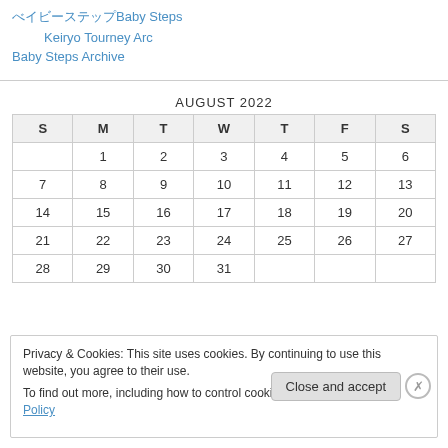べイビーステップBaby Steps
Keiryo Tourney Arc
Baby Steps Archive
| S | M | T | W | T | F | S |
| --- | --- | --- | --- | --- | --- | --- |
|  | 1 | 2 | 3 | 4 | 5 | 6 |
| 7 | 8 | 9 | 10 | 11 | 12 | 13 |
| 14 | 15 | 16 | 17 | 18 | 19 | 20 |
| 21 | 22 | 23 | 24 | 25 | 26 | 27 |
| 28 | 29 | 30 | 31 |  |  |  |
Privacy & Cookies: This site uses cookies. By continuing to use this website, you agree to their use. To find out more, including how to control cookies, see here: Cookie Policy